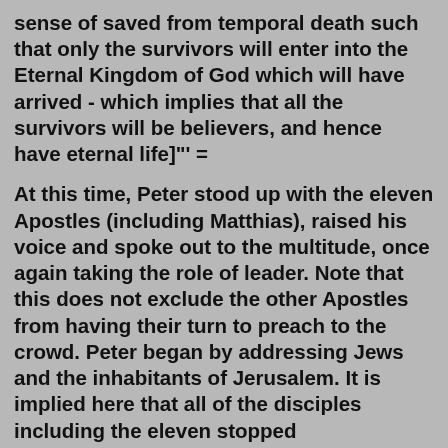sense of saved from temporal death such that only the survivors will enter into the Eternal Kingdom of God which will have arrived - which implies that all the survivors will be believers, and hence have eternal life]"' =
At this time, Peter stood up with the eleven Apostles (including Matthias), raised his voice and spoke out to the multitude, once again taking the role of leader. Note that this does not exclude the other Apostles from having their turn to preach to the crowd. Peter began by addressing Jews and the inhabitants of Jerusalem. It is implied here that all of the disciples including the eleven stopped